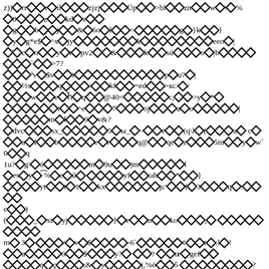Garbled/corrupted text page with diamond replacement characters and mixed ASCII symbols